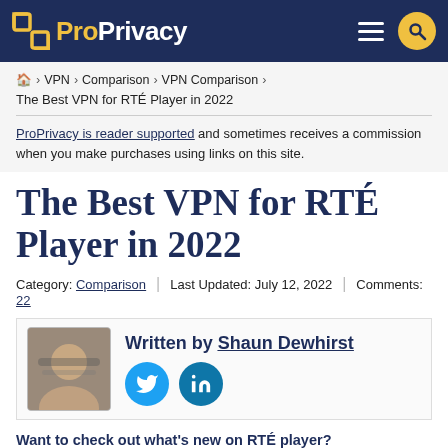ProPrivacy
🏠 › VPN › Comparison › VPN Comparison › The Best VPN for RTÉ Player in 2022
ProPrivacy is reader supported and sometimes receives a commission when you make purchases using links on this site.
The Best VPN for RTÉ Player in 2022
Category: Comparison | Last Updated: July 12, 2022 | Comments: 22
Written by Shaun Dewhirst
Want to check out what's new on RTÉ player? Unfortunately, RTÉ content is currently only available to